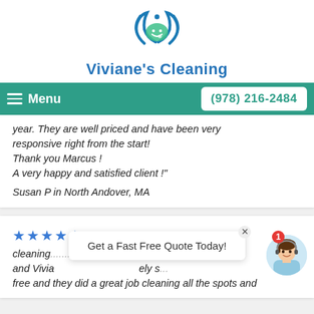[Figure (logo): Viviane's Cleaning logo: circular emblem with blue water swirls and a leaf]
Viviane's Cleaning
Menu   (978) 216-2484
year. They are well priced and have been very responsive right from the start!
Thank you Marcus !
A very happy and satisfied client !"
Susan P in North Andover, MA
★★★★★ - "Viviane's Cleaning did a fantastic... cleaning... ng and Vivia... ely s... free and they did a great job cleaning all the spots and
[Figure (photo): Chat support avatar: woman with headset, smiling]
Get a Fast Free Quote Today!